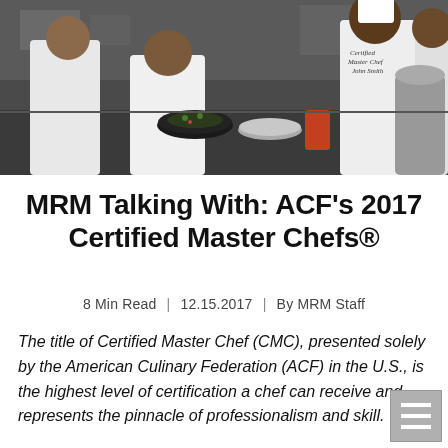[Figure (photo): Chefs in white uniforms working together in a professional kitchen, plating food]
MRM Talking With: ACF's 2017 Certified Master Chefs®
8 Min Read | 12.15.2017 | By MRM Staff
The title of Certified Master Chef (CMC), presented solely by the American Culinary Federation (ACF) in the U.S., is the highest level of certification a chef can receive and represents the pinnacle of professionalism and skill.
Today, there are 68 CMCs and 10 Certified Master Pastry Chefs® (CMPC) in the nation. To apply for the CMC exam